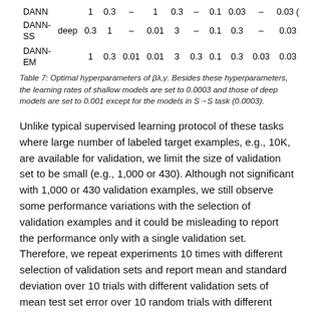| Model |  | β1 | λ1 | γ1 | β2 | λ2 | γ2 | β3 | λ3 | γ3 | β4 |
| --- | --- | --- | --- | --- | --- | --- | --- | --- | --- | --- | --- |
| DANN |  | 1 | 0.3 | – | 1 | 0.3 | – | 0.1 | 0.03 | – | 0.03 ( |
| DANN-SS | deep | 0.3 | 1 | – | 0.01 | 3 | – | 0.1 | 0.3 | – | 0.03 |
| DANN-EM |  | 1 | 0.3 | 0.01 | 0.01 | 3 | 0.3 | 0.1 | 0.3 | 0.03 | 0.03 |
Table 7: Optimal hyperparameters of βλ,γ. Besides these hyperparameters, the learning rates of shallow models are set to 0.0003 and those of deep models are set to 0.001 except for the models in S→S task (0.0003).
Unlike typical supervised learning protocol of these tasks where large number of labeled target examples, e.g., 10K, are available for validation, we limit the size of validation set to be small (e.g., 1,000 or 430). Although not significant with 1,000 or 430 validation examples, we still observe some performance variations with the selection of validation examples and it could be misleading to report the performance only with a single validation set. Therefore, we repeat experiments 10 times with different selection of validation sets and report mean and standard deviation over 10 trials with different validation sets of mean test set error over 10 random trials with different seeds in Table 6. Besides M→MM task with deep network